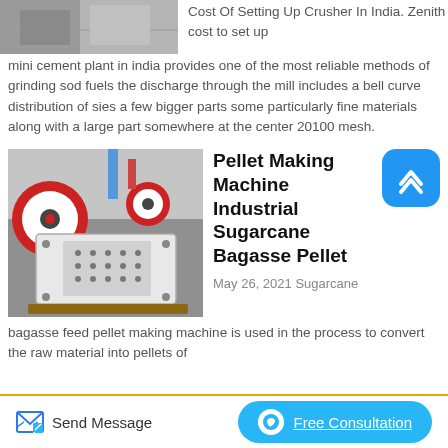[Figure (photo): Partial view of a crusher or industrial machine in a factory setting, grey tones]
Cost Of Setting Up Crusher In India. Zenith cost to set up mini cement plant in india provides one of the most reliable methods of grinding sod fuels the discharge through the mill includes a bell curve distribution of sies a few bigger parts some particularly fine materials along with a large part somewhere at the center 20100 mesh.
[Figure (photo): Pellet making machine (jaw crusher type) in an industrial setting, white and red machinery]
Pellet Making Machine Industrial Sugarcane Bagasse Pellet
May 26, 2021 Sugarcane bagasse feed pellet making machine is used in the process to convert the raw material into pellets of different
Send Message
Free Consultation